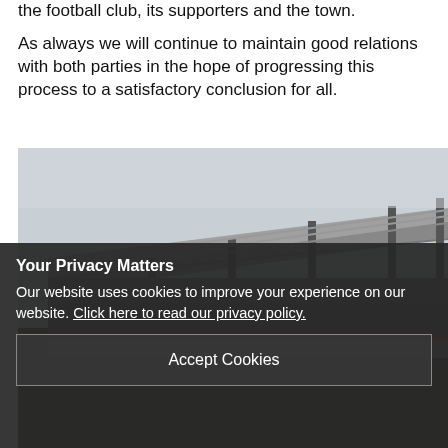the football club, its supporters and the town.
As always we will continue to maintain good relations with both parties in the hope of progressing this process to a satisfactory conclusion for all.
[Figure (photo): Exterior view of a football stadium stand with steel roof structure and floodlights, overcast sky]
Your Privacy Matters
Our website uses cookies to improve your experience on our website. Click here to read our privacy policy.
Accept Cookies